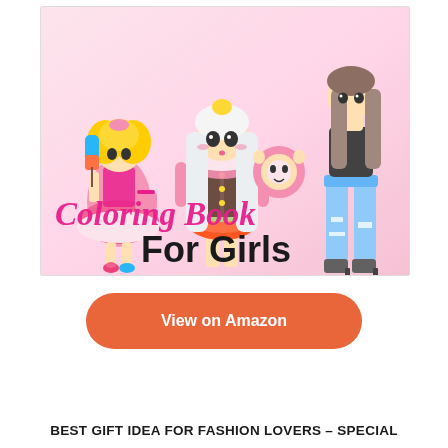[Figure (illustration): Cover of a coloring book for girls showing anime-style fashion characters including a small girl in frilly dress holding an ice cream bar, a tall center character in a corset dress with long white hair, and a teenage girl in ripped jeans. The cover reads 'Coloring Book For Girls' in pink and black bold text.]
View on Amazon
BEST GIFT IDEA FOR FASHION LOVERS – SPECIAL